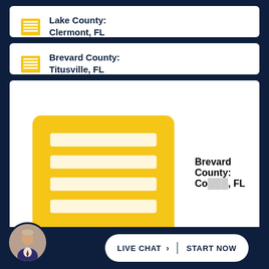Lake County: Clermont, FL
3721 S Hwy 27, Suite A
Clermont, FL 34711
Phone: 352-503-4674
Brevard County: Titusville, FL
506 S. Palm Ave.
Titusville, FL 32780
Phone: 321-222-7300
Brevard County: Co…, FL
LIVE CHAT › START NOW